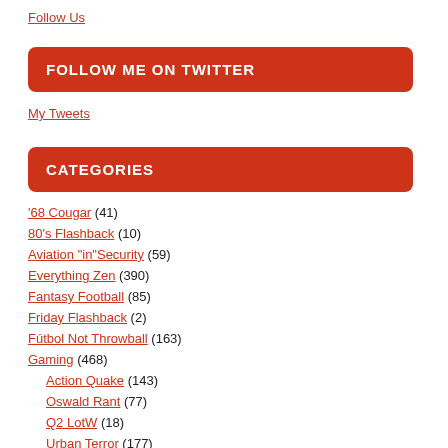Follow Us
FOLLOW ME ON TWITTER
My Tweets
CATEGORIES
'68 Cougar (41)
80's Flashback (10)
Aviation "in"Security (59)
Everything Zen (390)
Fantasy Football (85)
Friday Flashback (2)
Fútbol Not Throwball (163)
Gaming (468)
Action Quake (143)
Oswald Rant (77)
Q2 LotW (18)
Urban Terror (177)
Xlore (17)